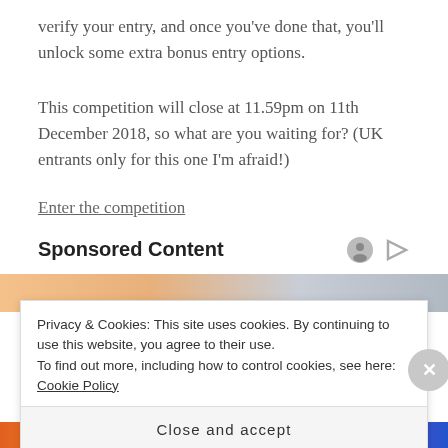verify your entry, and once you've done that, you'll unlock some extra bonus entry options.
This competition will close at 11.59pm on 11th December 2018, so what are you waiting for? (UK entrants only for this one I'm afraid!)
Enter the competition
Sponsored Content
[Figure (photo): Partial image strip visible behind cookie consent banner]
Privacy & Cookies: This site uses cookies. By continuing to use this website, you agree to their use.
To find out more, including how to control cookies, see here: Cookie Policy
Close and accept